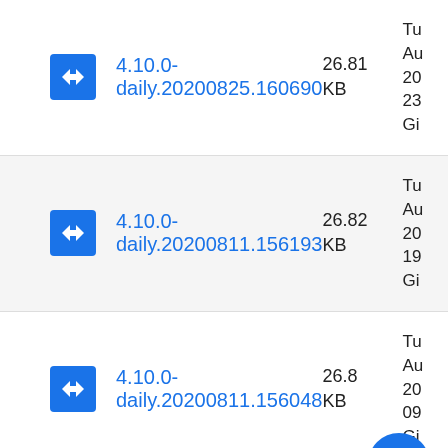4.10.0-daily.20200825.160690  26.81 KB  Tu Au 20 23 Gi
4.10.0-daily.20200811.156193  26.82 KB  Tu Au 20 19 Gi
4.10.0-daily.20200811.156048  26.8 KB  Tu Au 20 09 Gi
Sa Au